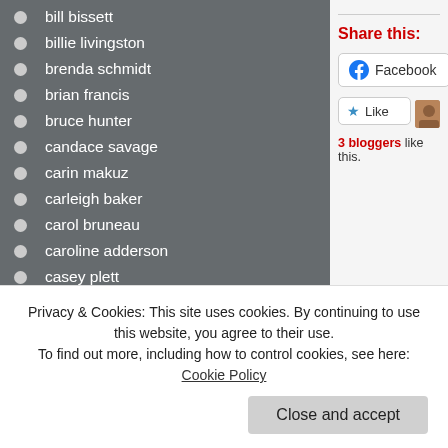bill bissett
billie livingston
brenda schmidt
brian francis
bruce hunter
candace savage
carin makuz
carleigh baker
carol bruneau
caroline adderson
casey plett
cassidy mcfadzean
catherine owen
chantal gibson
charmaine cadeau
Share this:
Facebook
Like
3 bloggers like this.
Privacy & Cookies: This site uses cookies. By continuing to use this website, you agree to their use. To find out more, including how to control cookies, see here: Cookie Policy
Close and accept